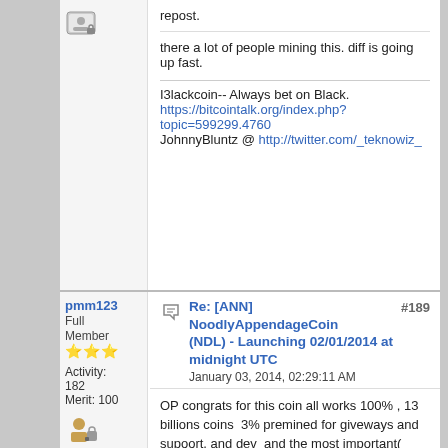there a lot of people mining this. diff is going up fast.
I3lackcoin-- Always bet on Black.
https://bitcointalk.org/index.php?topic=599299.4760
JohnnyBluntz @ http://twitter.com/_teknowiz_
pmm123
Full Member
Activity: 182
Merit: 100
Re: [ANN] NoodlyAppendageCoin (NDL) - Launching 02/01/2014 at midnight UTC
January 03, 2014, 02:29:11 AM
#189
OP congrats for this coin all works 100% , 13 billions coins  3% premined for giveways and supoort, and dev  and the most important( donation to reserach) incrible thy very much !
NdtnRSehTjSbgs1itW952GY2rs2iyvw3v2
|||| ★ CATALONIACOIN ||||
|||| OFFICIAL THREAD★||||
aorith
Member
Activity: 84
Re: [ANN] NoodlyAppendageCoin (NDL) - Launching 02/01/2014 at midnight UTC
January 03, 2014, 02:29:38 AM
#190